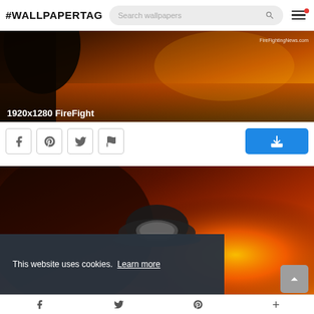#WALLPAPERTAG
[Figure (screenshot): Wallpaper website header with site title #WALLPAPERTAG, search bar, and hamburger menu with red notification dot]
[Figure (photo): Firefighter silhouette wallpaper thumbnail with orange/golden fire and water background, watermark FireFightingNews.com, label 1920x1280 FireFight]
[Figure (infographic): Social sharing buttons row: Facebook, Pinterest, Twitter, Flag icons in bordered squares, and blue download button on the right]
[Figure (photo): Second firefighter wallpaper thumbnail showing firefighter helmet against flames and fire]
This website uses cookies.  Learn more
Got it!
Facebook  Twitter  Pinterest  +